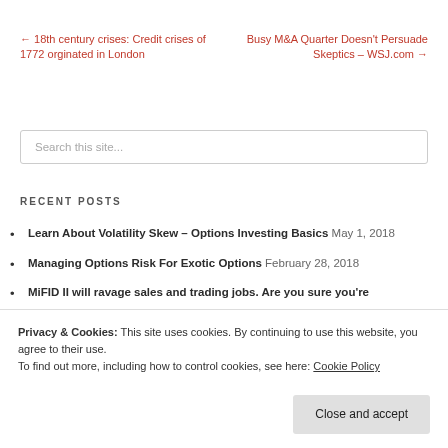← 18th century crises: Credit crises of 1772 orginated in London
Busy M&A Quarter Doesn't Persuade Skeptics – WSJ.com →
Search this site...
RECENT POSTS
Learn About Volatility Skew – Options Investing Basics May 1, 2018
Managing Options Risk For Exotic Options February 28, 2018
MiFID II will ravage sales and trading jobs. Are you sure you're
Privacy & Cookies: This site uses cookies. By continuing to use this website, you agree to their use.
To find out more, including how to control cookies, see here: Cookie Policy
Close and accept